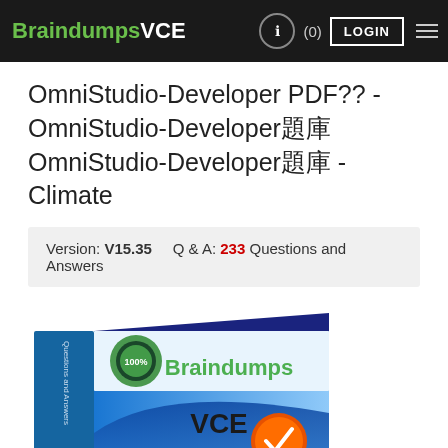BraindumpsVCE  (0)  LOGIN
OmniStudio-Developer PDF?? - OmniStudio-Developer題庫OmniStudio-Developer題庫 - Climate
Version: V15.35    Q & A: 233 Questions and Answers
[Figure (illustration): BraindumpsVCE product box showing a book/software box with 'Braindumps VCE' branding, a money-back guarantee seal, and text 'Questions & Answers'. The box is blue/teal with white and green text.]